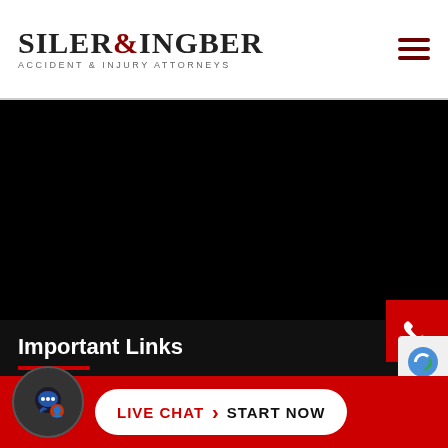[Figure (logo): Siler & Ingber Accident & Injury Attorneys logo with hamburger menu icon]
[Figure (photo): Dark/black background section, likely a hero image or video, with a red phone call button on the right side]
Important Links
Top b...
[Figure (infographic): Red bottom bar with live chat icon, LIVE CHAT > START NOW button, and reCAPTCHA badge]